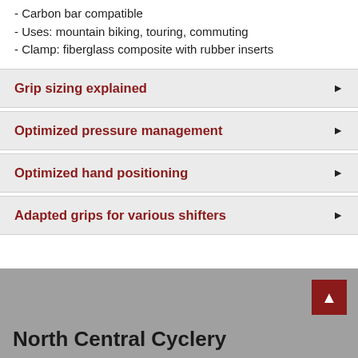- Carbon bar compatible
- Uses: mountain biking, touring, commuting
- Clamp: fiberglass composite with rubber inserts
Grip sizing explained
Optimized pressure management
Optimized hand positioning
Adapted grips for various shifters
North Central Cyclery